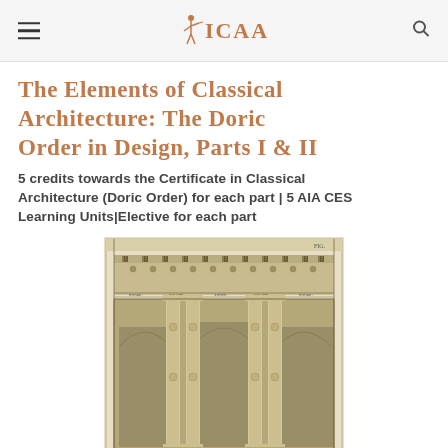ICAA
The Elements of Classical Architecture: The Doric Order in Design, Parts I & II
5 credits towards the Certificate in Classical Architecture (Doric Order) for each part | 5 AIA CES Learning Units|Elective for each part
[Figure (illustration): Architectural engraving showing Doric order columns with arches and detailed entablature, presented as a technical architectural plate on aged paper background.]